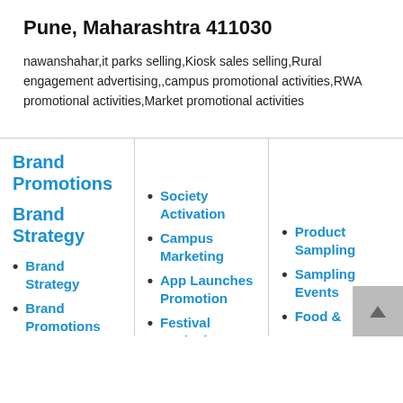Pune, Maharashtra 411030
nawanshahar,it parks selling,Kiosk sales selling,Rural engagement advertising,,campus promotional activities,RWA promotional activities,Market promotional activities
Brand Promotions
Brand Strategy
Brand Strategy
Brand Promotions
Society Activation
Campus Marketing
App Launches Promotion
Festival Marketing
Product Sampling
Sampling Events
Food &